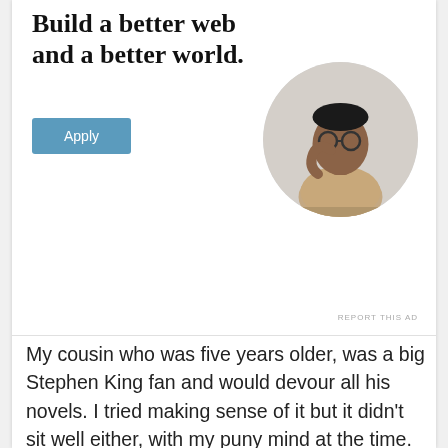Build a better web and a better world.
[Figure (photo): Circular portrait photo of a man wearing glasses and a beige shirt, sitting thoughtfully with his hand near his chin]
REPORT THIS AD
My cousin who was five years older, was a big Stephen King fan and would devour all his novels. I tried making sense of it but it didn’t sit well either, with my puny mind at the time.
I stuck to reading novels and short stories which were age appropriate, turned out to be fruitful eventually. Harry Potter came into being only 3 years later when I reached the 10th grade. Rest is history. It changed my teenage mind and opened up a whole new level of